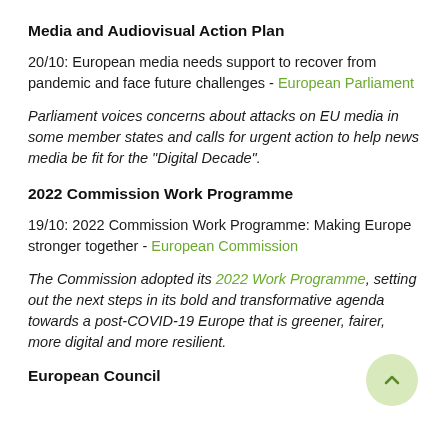Media and Audiovisual Action Plan
20/10: European media needs support to recover from pandemic and face future challenges - European Parliament
Parliament voices concerns about attacks on EU media in some member states and calls for urgent action to help news media be fit for the “Digital Decade”.
2022 Commission Work Programme
19/10: 2022 Commission Work Programme: Making Europe stronger together - European Commission
The Commission adopted its 2022 Work Programme, setting out the next steps in its bold and transformative agenda towards a post-COVID-19 Europe that is greener, fairer, more digital and more resilient.
European Council